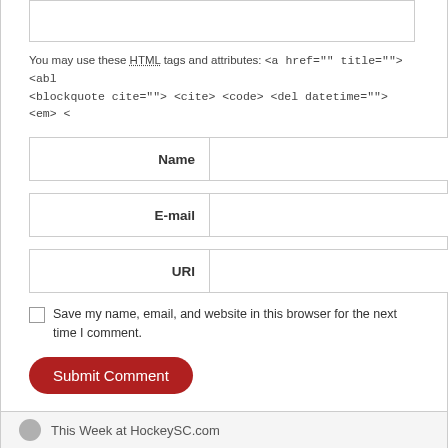You may use these HTML tags and attributes: <a href="" title=""> <abl <blockquote cite=""> <cite> <code> <del datetime=""> <em> <
Name (required)
E-mail (required)
URI
Save my name, email, and website in this browser for the next time I comment.
Submit Comment
This site uses Akismet to reduce spam. Learn how your comment data is processed.
This Week at HockeySC.com